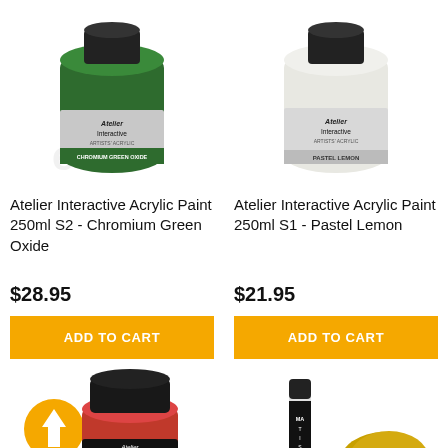[Figure (photo): Atelier Interactive Acrylic Paint bottle 250ml S2 - Chromium Green Oxide, dark green bottle with black lid]
[Figure (photo): Atelier Interactive Acrylic Paint bottle 250ml S1 - Pastel Lemon, white/cream bottle with black lid]
Atelier Interactive Acrylic Paint 250ml S2 - Chromium Green Oxide
$28.95
ADD TO CART
Atelier Interactive Acrylic Paint 250ml S1 - Pastel Lemon
$21.95
ADD TO CART
[Figure (photo): Small Atelier red paint pot with black lid and orange arrow/upload icon badge]
[Figure (photo): Matisse paint tube and yellow sponge/applicator]